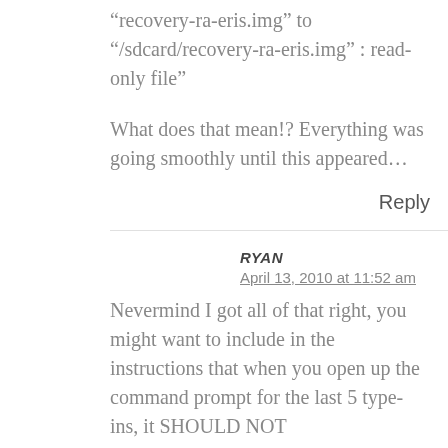“recovery-ra-eris.img” to “/sdcard/recovery-ra-eris.img” : read-only file”
What does that mean!? Everything was going smoothly until this appeared…
Reply
RYAN
April 13, 2010 at 11:52 am
Nevermind I got all of that right, you might want to include in the instructions that when you open up the command prompt for the last 5 type-ins, it SHOULD NOT